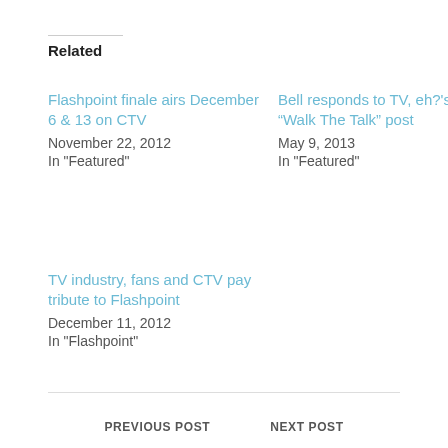Related
Flashpoint finale airs December 6 & 13 on CTV
November 22, 2012
In "Featured"
Bell responds to TV, eh?'s “Walk The Talk” post
May 9, 2013
In "Featured"
TV industry, fans and CTV pay tribute to Flashpoint
December 11, 2012
In "Flashpoint"
PREVIOUS POST   NEXT POST